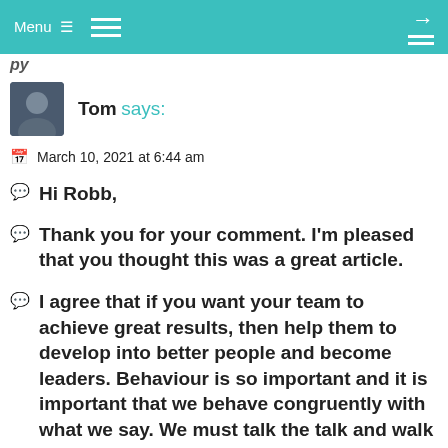Menu  [hamburger]  →
Tom says:
March 10, 2021 at 6:44 am
Hi Robb,
Thank you for your comment. I'm pleased that you thought this was a great article.
I agree that if you want your team to achieve great results, then help them to develop into better people and become leaders. Behaviour is so important and it is important that we behave congruently with what we say. We must talk the talk and walk the walk.